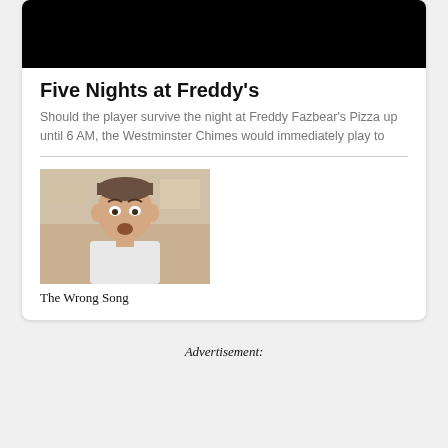[Figure (photo): Black rectangle at top of card, representing a video or image placeholder]
Five Nights at Freddy's
Should the player survive the night at Freddy Fazbear's Pizza up until 6 AM, the Westminster Chimes would immediately play to
[Figure (photo): Thumbnail image of a man in a white apron looking surprised, from a movie or TV show]
The Wrong Song
Advertisement: